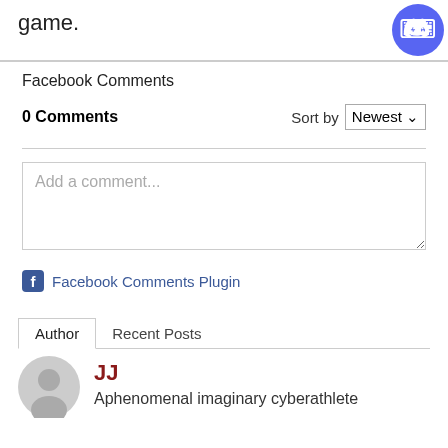[Figure (logo): Discord logo icon, purple circle with white game controller/headset symbol, top right corner]
game.
Facebook Comments
0 Comments    Sort by  Newest
Add a comment...
Facebook Comments Plugin
Author   Recent Posts
JJ
Aphenomenal imaginary cyberathlete